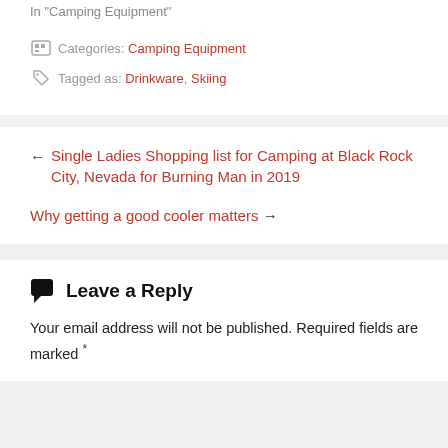In "Camping Equipment"
Categories: Camping Equipment
Tagged as: Drinkware, Skiing
← Single Ladies Shopping list for Camping at Black Rock City, Nevada for Burning Man in 2019
Why getting a good cooler matters →
Leave a Reply
Your email address will not be published. Required fields are marked *